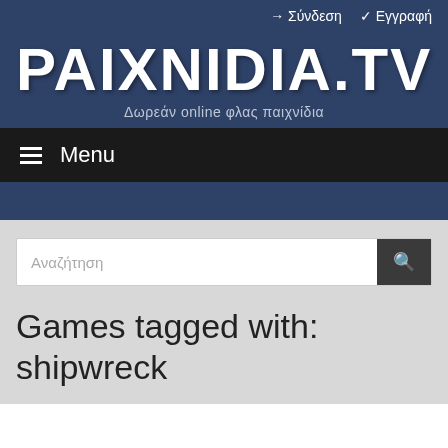→ Σύνδεση  ✓ Εγγραφή
PAIXNIDIA.TV
Δωρεάν online φλας παιχνίδια
☰ Menu
Αναζήτηση
Games tagged with: shipwreck